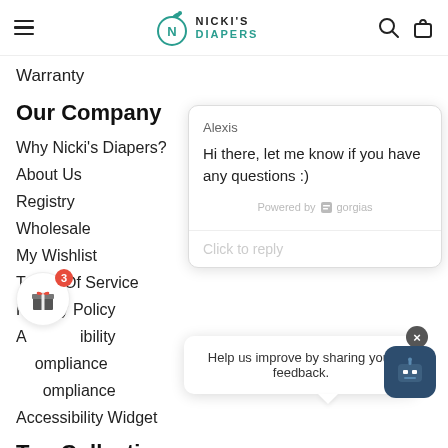Nicki's Diapers — navigation header with hamburger menu, logo, search and bag icons
Warranty
Our Company
Why Nicki's Diapers?
About Us
Registry
Wholesale
My Wishlist
Terms Of Service
Privacy Policy
Accessibility
Compliance
Compliance
Accessibility Widget
[Figure (screenshot): Chat popup from Alexis: 'Hi there, let me know if you have any questions :)' powered by gorgias, with a Click to reply field]
[Figure (infographic): Gift widget icon with red badge showing '3' and a feedback bot popup saying 'Help us improve by sharing your feedback.' with an X close button and a dark teal robot avatar]
Top Collections
Cloth Diapers
New Born Cloth Diapers